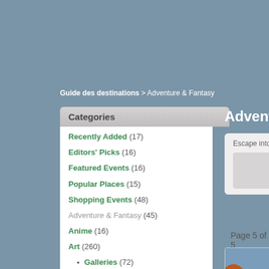Guide des destinations > Adventure & Fantasy
Categories
Recently Added (17)
Editors' Picks (16)
Featured Events (16)
Popular Places (15)
Shopping Events (48)
Adventure & Fantasy (45)
Anime (16)
Art (260)
Galleries (72)
Theaters & Performances (16)
Exhibits & Installations (49)
Photo Studios (6)
Bars, Pubs & Restaurants (31)
Adventure & Fantasy
Escape into these virtual world locati...
Page 5 of 5
[Figure (photo): Fantasy landscape screenshot showing a tower, autumn trees, and medieval-style buildings near water]